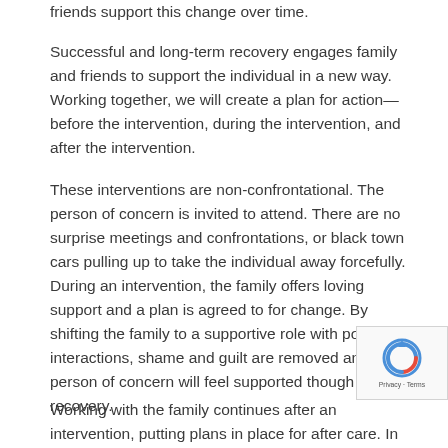friends support this change over time.
Successful and long-term recovery engages family and friends to support the individual in a new way. Working together, we will create a plan for action—before the intervention, during the intervention, and after the intervention.
These interventions are non-confrontational. The person of concern is invited to attend. There are no surprise meetings and confrontations, or black town cars pulling up to take the individual away forcefully. During an intervention, the family offers loving support and a plan is agreed to for change. By shifting the family to a supportive role with positive interactions, shame and guilt are removed and the person of concern will feel supported though their recovery.
Working with the family continues after an intervention, putting plans in place for after care. In